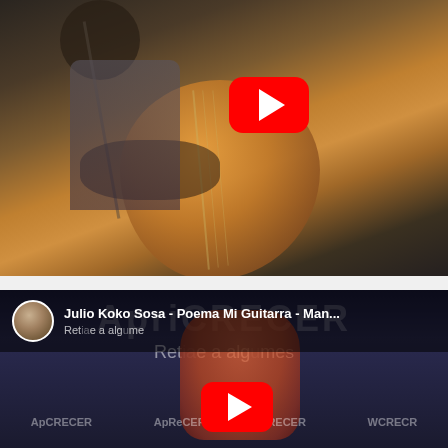[Figure (screenshot): YouTube video thumbnail showing a musician playing an acoustic guitar in a dark setting with a YouTube play button overlay in the upper-right area.]
[Figure (screenshot): YouTube video embed/preview for 'Julio Koko Sosa - Poema Mi Guitarra - Man...' showing a performer with guitar at a CRECER event with YouTube play button overlay. Channel icon and title visible in top bar.]